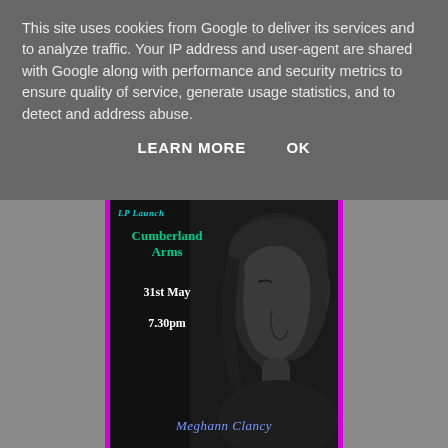This site uses cookies from Google to deliver its services and to analyze traffic. Your IP address and user-agent are shared with Google along with performance and security metrics to ensure quality of service, generate usage statistics, and to detect and address abuse.
LEARN MORE    OK
[Figure (photo): Event poster with black background and magenta/pink border. Shows a black-and-white portrait of a woman's face in profile (right side). Text on poster reads: LP Launch, Cumberland Arms, 31st May, 7.30pm, Meghann Clancy]